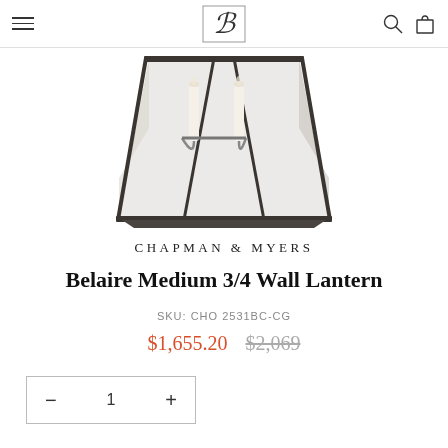Navigation header with hamburger menu, B logo, search and bag icons
[Figure (photo): Belaire Medium 3/4 Wall Lantern product photo — a dark bronze geometric lantern with glass panels and candle-style bulbs, viewed from above at an angle]
CHAPMAN & MYERS
Belaire Medium 3/4 Wall Lantern
SKU: CHO 2531BC-CG
$1,655.20  $2,069
− 1 +